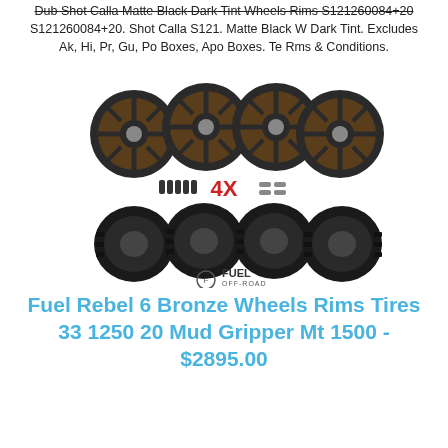Dub Shot Calla Matte Black Dark Tint Wheels Rims S121260084+20. Shot Calla S121. Matte Black W Dark Tint. Excludes Ak, Hi, Pr, Gu, Po Boxes, Apo Boxes. Te Rms & Conditions.
[Figure (photo): Product photo showing four bronze/dark-tinted multi-spoke wheels and four off-road mud-terrain tires arranged in a pack, with center accessories visible, and the Fuel Off-Road brand logo at bottom]
Fuel Rebel 6 Bronze Wheels Rims Tires 33 1250 20 Mud Gripper Mt 1500 - $2895.00